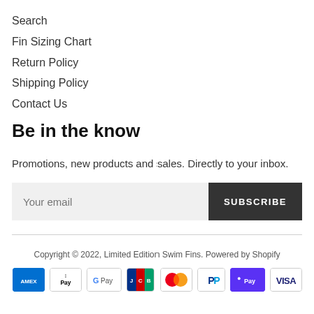Search
Fin Sizing Chart
Return Policy
Shipping Policy
Contact Us
Be in the know
Promotions, new products and sales. Directly to your inbox.
Your email | SUBSCRIBE
Copyright © 2022, Limited Edition Swim Fins. Powered by Shopify
[Figure (other): Payment method icons: American Express, Apple Pay, Google Pay, JCB, Mastercard, PayPal, Shop Pay, Visa]